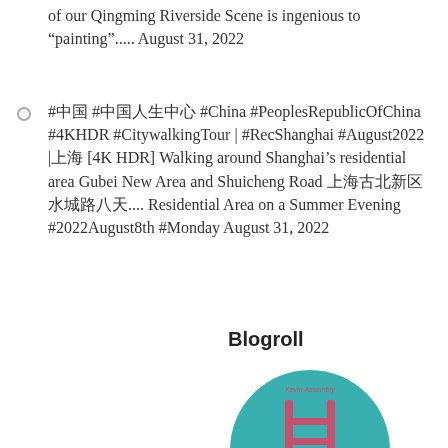of our Qingming Riverside Scene is ingenious to “painting”..... August 31, 2022
#中国 #中国人生中心 #China #PeoplesRepublicOfChina #4KHDR #CitywalkingTour | #RecShanghai #August2022 |上海 [4K HDR] Walking around Shanghai’s residential area Gubei New Area and Shuicheng Road 上海古北新区水城路八天.... Residential Area on a Summer Evening #2022August8th #Monday August 31, 2022
Blogroll
[Figure (logo): Circular teal logo with a pink/red ladder or bridge graphic and small text reading 'Kevin Assembly' and a subtitle URL]